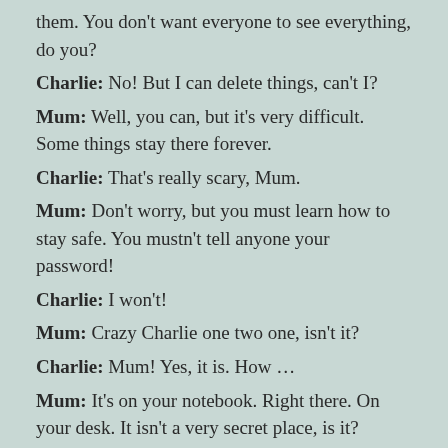them. You don't want everyone to see everything, do you?
Charlie: No! But I can delete things, can't I?
Mum: Well, you can, but it's very difficult. Some things stay there forever.
Charlie: That's really scary, Mum.
Mum: Don't worry, but you must learn how to stay safe. You mustn't tell anyone your password!
Charlie: I won't!
Mum: Crazy Charlie one two one, isn't it?
Charlie: Mum! Yes, it is. How …
Mum: It's on your notebook. Right there. On your desk. It isn't a very secret place, is it?
Charlie: No, it isn't.
Charlie: Mum! That's my computer!